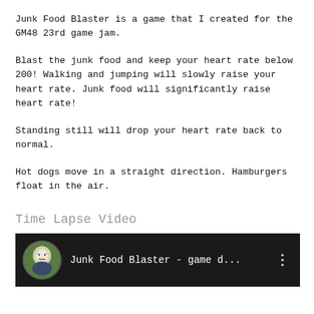Junk Food Blaster is a game that I created for the GM48 23rd game jam.
Blast the junk food and keep your heart rate below 200! Walking and jumping will slowly raise your heart rate. Junk food will significantly raise heart rate!
Standing still will drop your heart rate back to normal.
Hot dogs move in a straight direction. Hamburgers float in the air.
Time Lapse Video
[Figure (screenshot): YouTube video thumbnail showing 'Junk Food Blaster - game d...' with a circular avatar icon on a dark background]